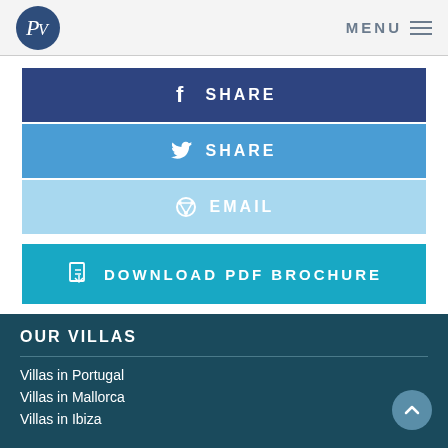PV MENU
f SHARE
SHARE
EMAIL
DOWNLOAD PDF BROCHURE
OUR VILLAS
Villas in Portugal
Villas in Mallorca
Villas in Ibiza